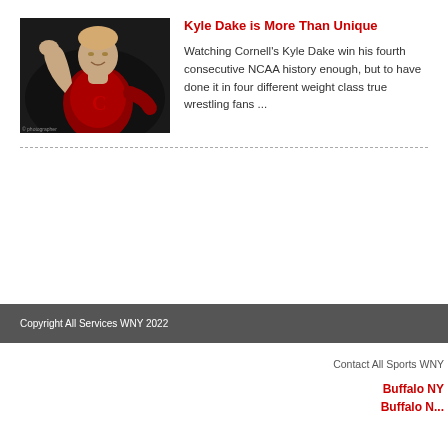[Figure (photo): Wrestler Kyle Dake in red Cornell singlet flexing, dark background]
Kyle Dake is More Than Unique
Watching Cornell's Kyle Dake win his fourth consecutive NCAA history enough, but to have done it in four different weight class true wrestling fans ...
Copyright All Services WNY 2022
Contact All Sports WNY
Buffalo NY
Buffalo N...